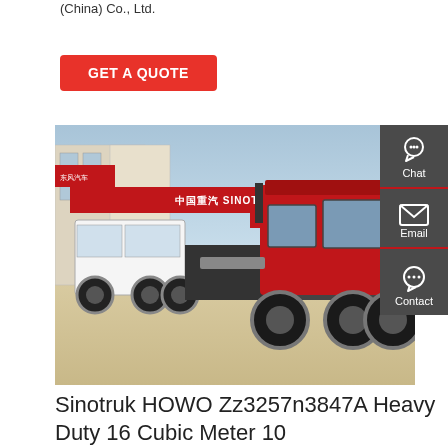(China) Co., Ltd.
GET A QUOTE
[Figure (photo): Red Sinotruk HOWO heavy duty truck parked in a truck dealership yard with white trucks and a Sinotruk branded red banner in the background. A dark grey sidebar with Chat, Email, and Contact icons overlaps the right side.]
Sinotruk HOWO Zz3257n3847A Heavy Duty 16 Cubic Meter 10